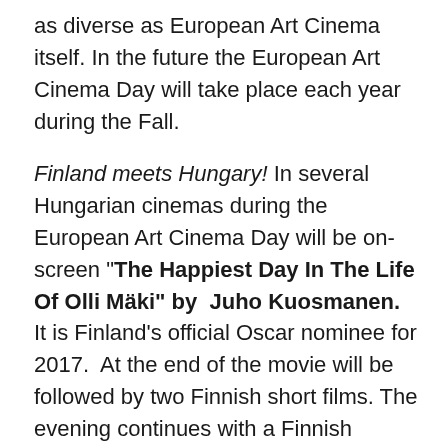as diverse as European Art Cinema itself. In the future the European Art Cinema Day will take place each year during the Fall.
Finland meets Hungary! In several Hungarian cinemas during the European Art Cinema Day will be on-screen "The Happiest Day In The Life Of Olli Mäki" by Juho Kuosmanen. It is Finland's official Oscar nominee for 2017. At the end of the movie will be followed by two Finnish short films. The evening continues with a Finnish theme and interesting discussions. The film has been awarded several times already including at the Cannes Festival, and it is one of the most talked about Finnish films at the moment. The Happiest Day In The Life Of Olli Mäki is screened in the original language (Finnish, partly in English) and subtitled in Hungarian. The discussion will be held in English.